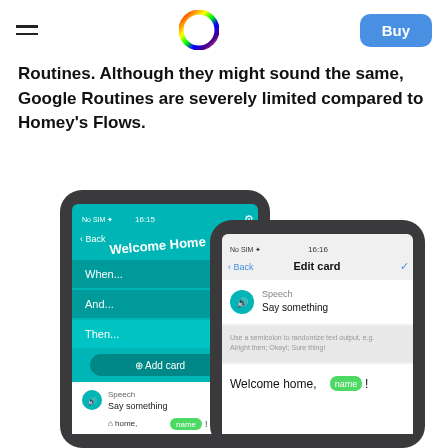Homey logo | Buy
Routines. Although they might sound the same, Google Routines are severely limited compared to Homey's Flows.
[Figure (screenshot): Two iPhones showing the Homey app interface. Left phone shows a 'Welcome Home' flow screen with When, And, Then sections and Add card button, plus a Speech card at the bottom saying 'Say something' and 'home, name!'. Right phone shows an 'Edit card' screen for Speech with 'Say something' and a text field containing 'Welcome home, name!']